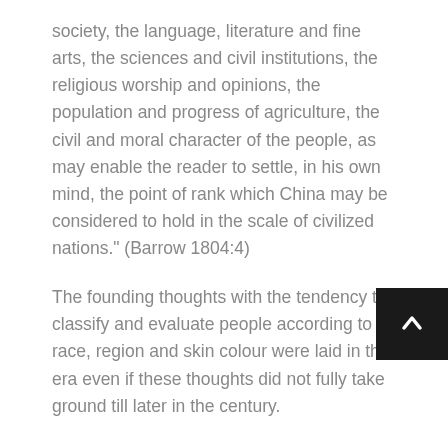society, the language, literature and fine arts, the sciences and civil institutions, the religious worship and opinions, the population and progress of agriculture, the civil and moral character of the people, as may enable the reader to settle, in his own mind, the point of rank which China may be considered to hold in the scale of civilized nations." (Barrow 1804:4)
The founding thoughts with the tendency to classify and evaluate people according to race, region and skin colour were laid in this era even if these thoughts did not fully take ground till later in the century.
Most important was that not everyone shared this upcoming perspective and throughout the 1800s, there were numerous indications that Swedish authors and scholars continued to write positively about China and its culture.